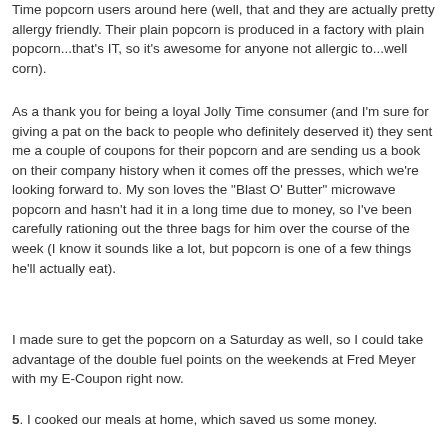Time popcorn users around here (well, that and they are actually pretty allergy friendly. Their plain popcorn is produced in a factory with plain popcorn...that's IT, so it's awesome for anyone not allergic to...well corn).
As a thank you for being a loyal Jolly Time consumer (and I'm sure for giving a pat on the back to people who definitely deserved it) they sent me a couple of coupons for their popcorn and are sending us a book on their company history when it comes off the presses, which we're looking forward to. My son loves the "Blast O' Butter" microwave popcorn and hasn't had it in a long time due to money, so I've been carefully rationing out the three bags for him over the course of the week (I know it sounds like a lot, but popcorn is one of a few things he'll actually eat).
I made sure to get the popcorn on a Saturday as well, so I could take advantage of the double fuel points on the weekends at Fred Meyer with my E-Coupon right now.
5. I cooked our meals at home, which saved us some money.